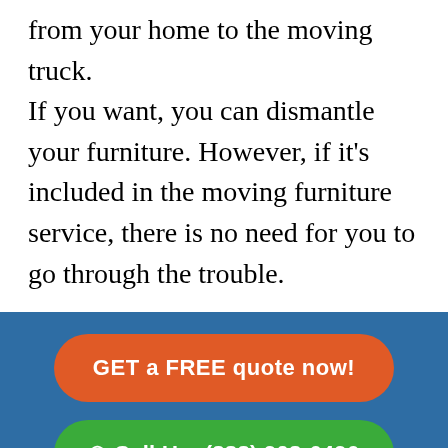from your home to the moving truck.
If you want, you can dismantle your furniture. However, if it's included in the moving furniture service, there is no need for you to go through the trouble.
GET a FREE quote now!
Call Us: (888) 908-6496